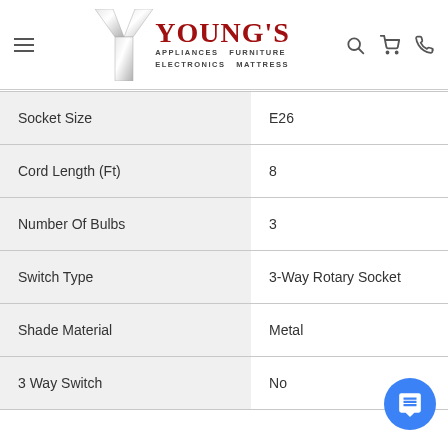Young's Appliances Furniture Electronics Mattress
| Attribute | Value |
| --- | --- |
| Socket Size | E26 |
| Cord Length (Ft) | 8 |
| Number Of Bulbs | 3 |
| Switch Type | 3-Way Rotary Socket |
| Shade Material | Metal |
| 3 Way Switch | No |